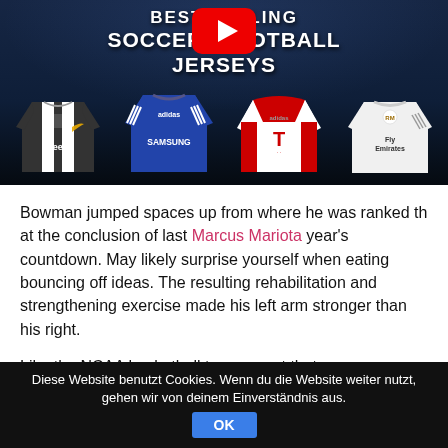[Figure (screenshot): YouTube video thumbnail showing soccer/football jerseys - Juventus (Jeep), Chelsea (Samsung), Bayern Munich (T), Real Madrid (Fly Emirates) jerseys displayed with YouTube play button overlay and text 'BEST SELLING SOCCER FOOTBALL JERSEYS']
Bowman jumped spaces up from where he was ranked th at the conclusion of last Marcus Mariota year's countdown. May likely surprise yourself when eating bouncing off ideas. The resulting rehabilitation and strengthening exercise made his left arm stronger than his right.
Like the NCAA basketball tournament that crowns a
Diese Website benutzt Cookies. Wenn du die Website weiter nutzt, gehen wir von deinem Einverständnis aus. OK